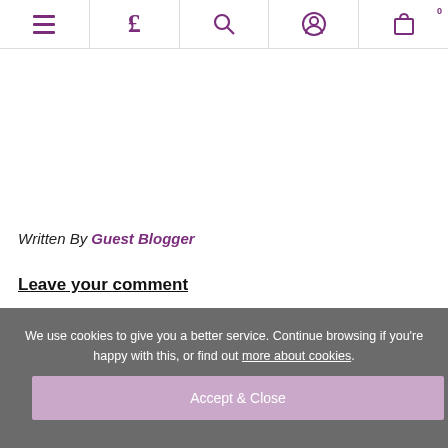Navigation bar with menu, currency (£), search, account, and cart (0) icons
Written By Guest Blogger
Leave your comment
We use cookies to give you a better service. Continue browsing if you're happy with this, or find out more about cookies.
Accept & Close